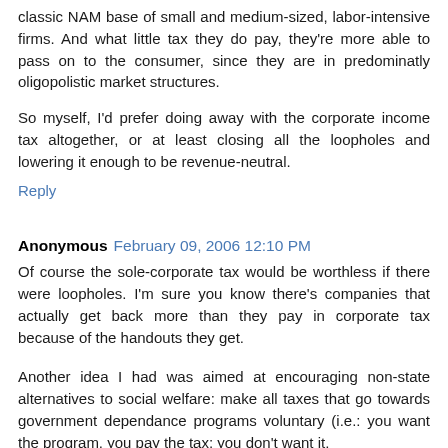classic NAM base of small and medium-sized, labor-intensive firms. And what little tax they do pay, they're more able to pass on to the consumer, since they are in predominatly oligopolistic market structures.
So myself, I'd prefer doing away with the corporate income tax altogether, or at least closing all the loopholes and lowering it enough to be revenue-neutral.
Reply
Anonymous February 09, 2006 12:10 PM
Of course the sole-corporate tax would be worthless if there were loopholes. I'm sure you know there's companies that actually get back more than they pay in corporate tax because of the handouts they get.
Another idea I had was aimed at encouraging non-state alternatives to social welfare: make all taxes that go towards government dependance programs voluntary (i.e.: you want the program, you pay the tax; you don't want it,